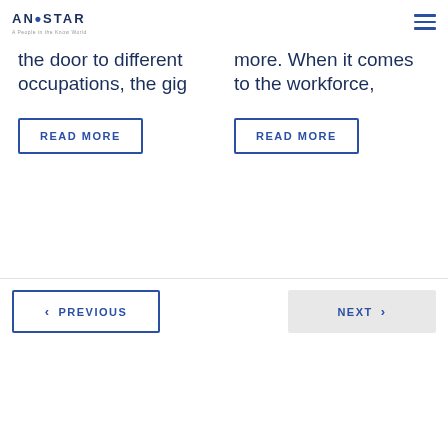Anistar Technologies — A People in the Know World
the door to different occupations, the gig
more. When it comes to the workforce,
READ MORE
READ MORE
PREVIOUS
NEXT